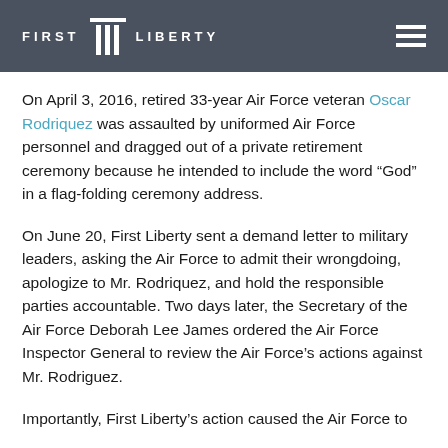FIRST LIBERTY
On April 3, 2016, retired 33-year Air Force veteran Oscar Rodriquez was assaulted by uniformed Air Force personnel and dragged out of a private retirement ceremony because he intended to include the word “God” in a flag-folding ceremony address.
On June 20, First Liberty sent a demand letter to military leaders, asking the Air Force to admit their wrongdoing, apologize to Mr. Rodriquez, and hold the responsible parties accountable. Two days later, the Secretary of the Air Force Deborah Lee James ordered the Air Force Inspector General to review the Air Force’s actions against Mr. Rodriguez.
Importantly, First Liberty’s action caused the Air Force to